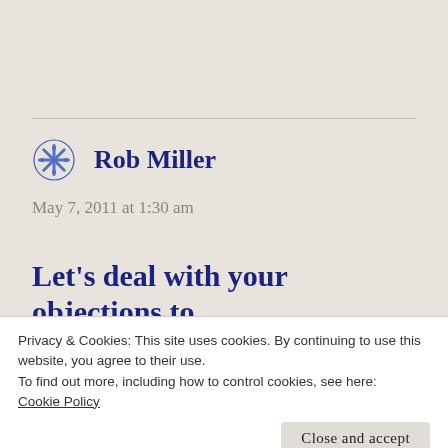Rob Miller
May 7, 2011 at 1:30 am
Let’s deal with your objections to
Privacy & Cookies: This site uses cookies. By continuing to use this website, you agree to their use.
To find out more, including how to control cookies, see here: Cookie Policy
Close and accept
ty, Femmes and Falun are definitely